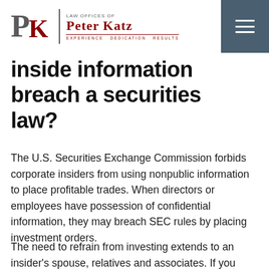Law Offices of Peter Katz — Experience Dedication Results
inside information breach a securities law?
The U.S. Securities Exchange Commission forbids corporate insiders from using nonpublic information to place profitable trades. When directors or employees have possession of confidential information, they may breach SEC rules by placing investment orders.
The need to refrain from investing extends to an insider's spouse, relatives and associates. If you receive material nonpublic information, you may face